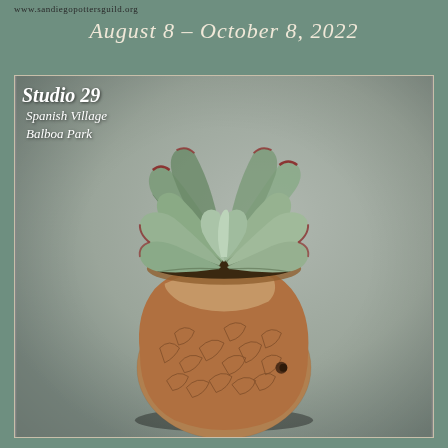www.sandiegopottersguild.org
August 8 – October 8, 2022
[Figure (photo): A succulent plant with blue-green rounded leaves edged in red, planted in a rustic crackle-textured ceramic pot with earthy brown tones, photographed against a soft gray background.]
Studio 29
Spanish Village
Balboa Park